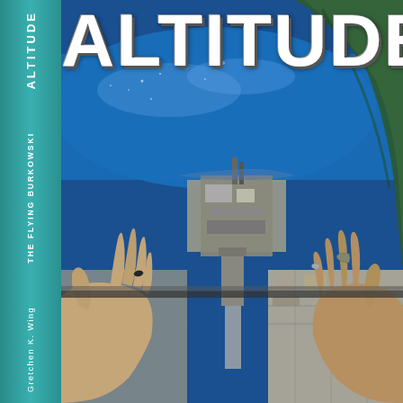[Figure (photo): Book cover of 'Altitude' showing an aerial photograph looking straight down from a great height over an industrial port/waterfront facility with a large body of blue water, forested hillside, and two hands gripping the edge of a surface in the foreground — as if the viewer is clinging to a high ledge looking down. The book spine on the left reads 'ALTITUDE / THE FLYING BURKOWSKI / Gretchen K. Wing' on a teal/turquoise background.]
ALTITUDE
THE FLYING BURKOWSKI
Gretchen K. Wing